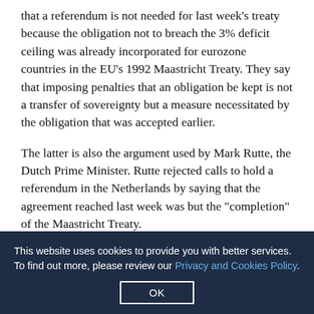that a referendum is not needed for last week's treaty because the obligation not to breach the 3% deficit ceiling was already incorporated for eurozone countries in the EU's 1992 Maastricht Treaty. They say that imposing penalties that an obligation be kept is not a transfer of sovereignty but a measure necessitated by the obligation that was accepted earlier.
The latter is also the argument used by Mark Rutte, the Dutch Prime Minister. Rutte rejected calls to hold a referendum in the Netherlands by saying that the agreement reached last week was but the "completion" of the Maastricht Treaty.
The 3% deficit ceiling makes it hard for European ... members, only three small countries – Estonia, Finland and Luxemburg – were not in breach of the 3% deficit ceiling. During the past ten years, even Germany
This website uses cookies to provide you with better services. To find out more, please review our Privacy and Cookies Policy.